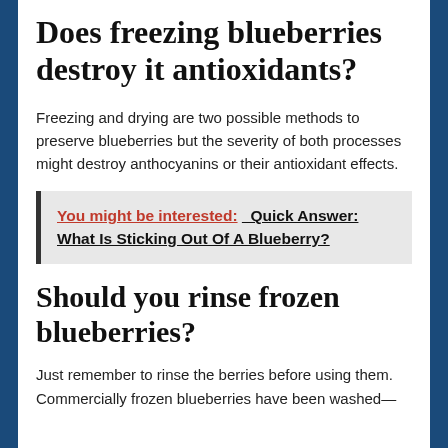Does freezing blueberries destroy it antioxidants?
Freezing and drying are two possible methods to preserve blueberries but the severity of both processes might destroy anthocyanins or their antioxidant effects.
You might be interested:  Quick Answer: What Is Sticking Out Of A Blueberry?
Should you rinse frozen blueberries?
Just remember to rinse the berries before using them. Commercially frozen blueberries have been washed—